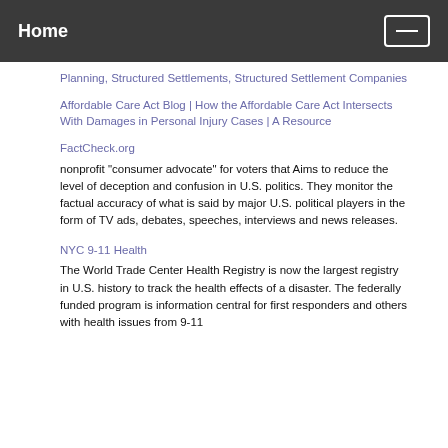Home
Planning, Structured Settlements, Structured Settlement Companies
Affordable Care Act Blog | How the Affordable Care Act Intersects With Damages in Personal Injury Cases | A Resource
FactCheck.org
nonprofit "consumer advocate" for voters that Aims to reduce the level of deception and confusion in U.S. politics. They monitor the factual accuracy of what is said by major U.S. political players in the form of TV ads, debates, speeches, interviews and news releases.
NYC 9-11 Health
The World Trade Center Health Registry is now the largest registry in U.S. history to track the health effects of a disaster. The federally funded program is information central for first responders and others with health issues from 9-11